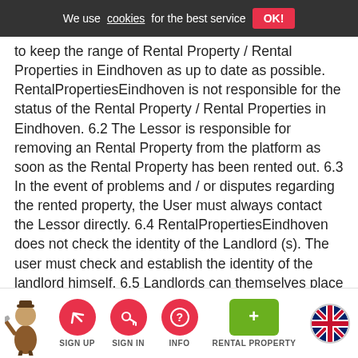to keep the range of Rental Property / Rental Properties in Eindhoven as up to date as possible. RentalPropertiesEindhoven is not responsible for the status of the Rental Property / Rental Properties in Eindhoven. 6.2 The Lessor is responsible for removing an Rental Property from the platform as soon as the Rental Property has been rented out. 6.3 In the event of problems and / or disputes regarding the rented property, the User must always contact the Lessor directly. 6.4 RentalPropertiesEindhoven does not check the identity of the Landlord (s). The user must check and establish the identity of the landlord himself. 6.5 Landlords can themselves place information on the website about the Rental Property / the Rental Properties in Eindhoven. RentalPropertiesEindhoven has no prior control or editorial supervision. RentalPropertiesEindhoven will seriously investigate complaints about user content and
SIGN UP   SIGN IN   INFO   RENTAL PROPERTY